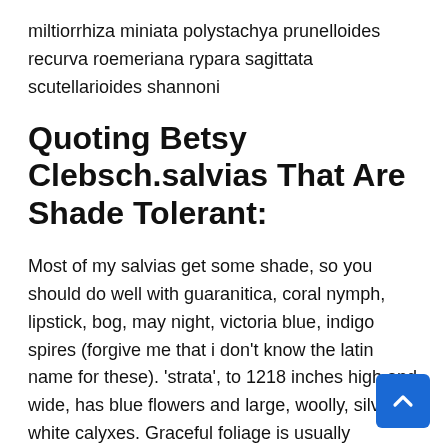miltiorrhiza miniata polystachya prunelloides recurva roemeriana rypara sagittata scutellarioides shannoni
Quoting Betsy Clebsch.salvias That Are Shade Tolerant:
Most of my salvias get some shade, so you should do well with guaranitica, coral nymph, lipstick, bog, may night, victoria blue, indigo spires (forgive me that i don't know the latin name for these). 'strata', to 1218 inches high and wide, has blue flowers and large, woolly, silvery white calyxes. Graceful foliage is usually evergreen.